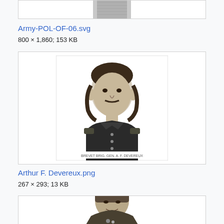[Figure (photo): Partial view of Army-POL-OF-06 SVG file thumbnail, showing top portion]
Army-POL-OF-06.svg
800 × 1,860; 153 KB
[Figure (illustration): Black and white engraved portrait of Arthur F. Devereux in military uniform with mustache and bow tie, with caption text below]
Arthur F. Devereux.png
267 × 293; 13 KB
[Figure (photo): Black and white photograph of a military officer in uniform, partially visible, cropped at bottom]